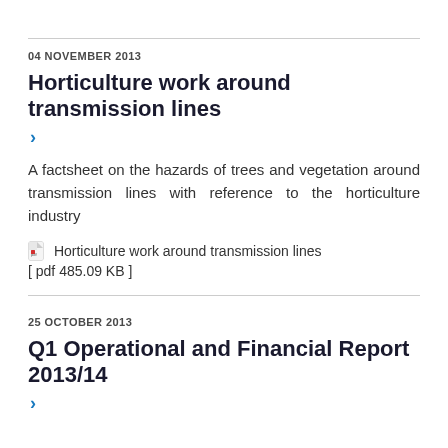04 NOVEMBER 2013
Horticulture work around transmission lines
A factsheet on the hazards of trees and vegetation around transmission lines with reference to the horticulture industry
Horticulture work around transmission lines [ pdf 485.09 KB ]
25 OCTOBER 2013
Q1 Operational and Financial Report 2013/14